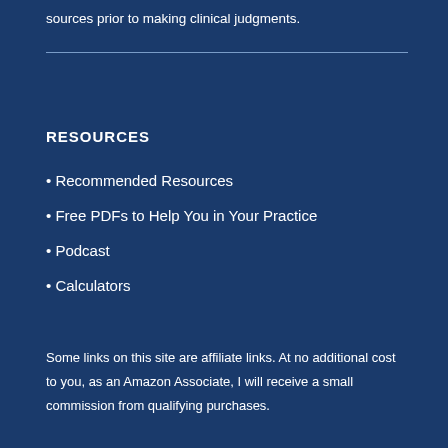sources prior to making clinical judgments.
RESOURCES
• Recommended Resources
• Free PDFs to Help You in Your Practice
• Podcast
• Calculators
Some links on this site are affiliate links. At no additional cost to you, as an Amazon Associate, I will receive a small commission from qualifying purchases.